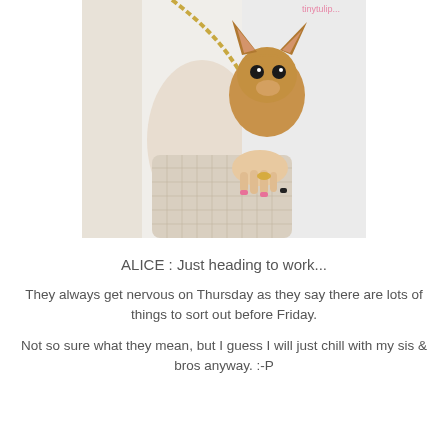[Figure (photo): A person dressed in white holding a small chihuahua dog peeking out from their arm, with a beige quilted handbag and gold chain strap. The person is wearing rings and has pink and black nail polish.]
ALICE : Just heading to work...
They always get nervous on Thursday as they say there are lots of things to sort out before Friday.
Not so sure what they mean, but I guess I will just chill with my sis & bros anyway. :-P